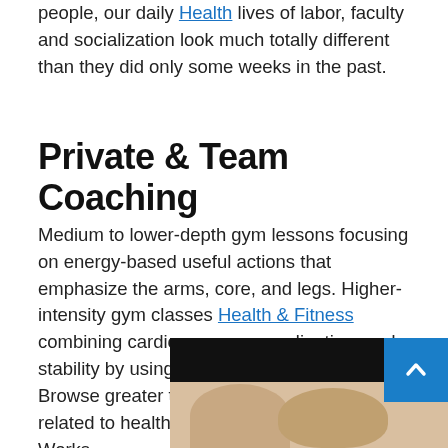people, our daily Health lives of labor, faculty and socialization look much totally different than they did only some weeks in the past.
Private & Team Coaching
Medium to lower-depth gym lessons focusing on energy-based useful actions that emphasize the arms, core, and legs. Higher-intensity gym classes Health & Fitness combining cardio, energy, coordination, and stability by using traditional boxing moves. Browse greater than a hundred resources related to health and wellness on WIC Works.
[Figure (photo): Photo of two people, partially visible at bottom of page, with a black header bar above the photo area and a blue scroll-to-top button in the top-right corner of the image region.]